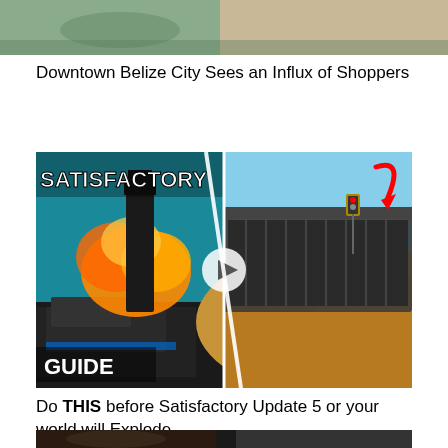[Figure (photo): Top portion of an image showing a street scene, partially cropped at the top of the page]
Downtown Belize City Sees an Influx of Shoppers
[Figure (screenshot): Thumbnail for a Satisfactory video game guide showing a train explosion on the left and a conveyor belt over sand dunes on the right, with red arrow pointing and a play button. Title text reads SATISFACTORY GUIDE.]
Do THIS before Satisfactory Update 5 or your world will Explode.
[Figure (photo): Bottom portion of another video thumbnail showing a person and a screen, partially visible at the bottom of the page]